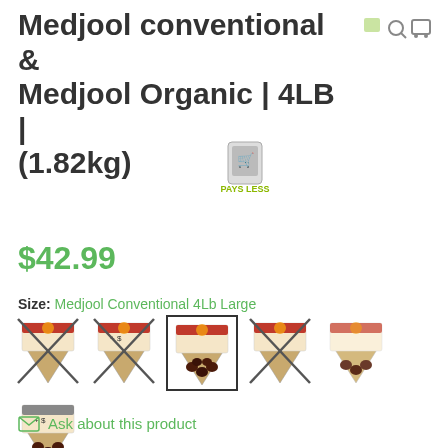Medjool conventional & Medjool Organic | 4LB | (1.82kg)
$42.99
Size: Medjool Conventional 4Lb Large
[Figure (photo): Six product thumbnail images of Medjool date packages arranged in two rows. Five thumbnails show crossed-out (X) packages indicating out of stock or unavailable sizes, one thumbnail (third in first row) is selected with a bold border showing no X. A sixth thumbnail appears in the second row also crossed out.]
Ask about this product